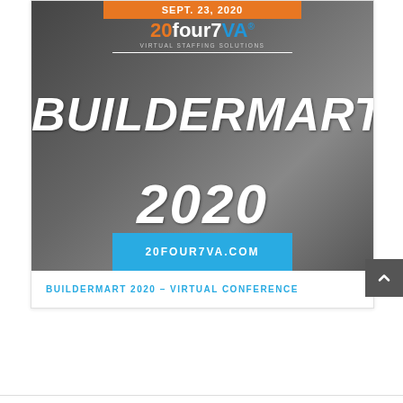[Figure (photo): Promotional banner for Buildermart 2020 Virtual Conference by 20four7VA. Shows two construction workers in hard hats and safety vests reviewing plans. Orange banner at top reads 'SEPT. 23, 2020'. 20four7VA logo with 'Virtual Staffing Solutions' tagline. Large white italic text reads 'BUILDERMART 2020'. Teal banner at bottom reads '20FOUR7VA.COM'.]
BUILDERMART 2020 – VIRTUAL CONFERENCE